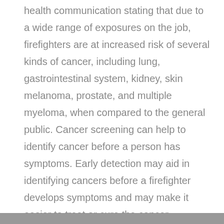health communication stating that due to a wide range of exposures on the job, firefighters are at increased risk of several kinds of cancer, including lung, gastrointestinal system, kidney, skin melanoma, prostate, and multiple myeloma, when compared to the general public. Cancer screening can help to identify cancer before a person has symptoms. Early detection may aid in identifying cancers before a firefighter develops symptoms and may make it easier to treat or cure the cancer.